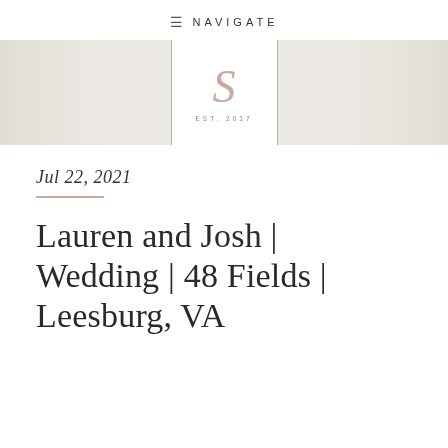≡ NAVIGATE
[Figure (logo): Logo box with decorative S monogram and EST. 2017 text, set against a textured banner background]
Jul 22, 2021
Lauren and Josh | Wedding | 48 Fields | Leesburg, VA